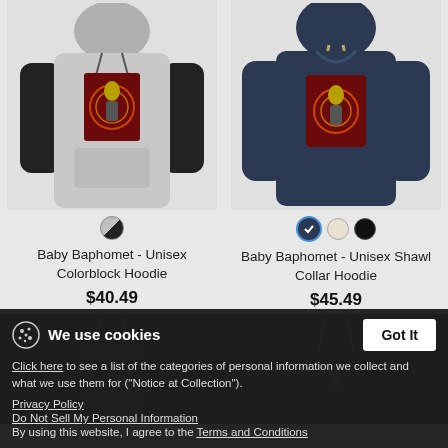[Figure (photo): Baby Baphomet - Unisex Colorblock Hoodie product photo, grey and black hoodie with graphic print on chest]
[Figure (photo): Baby Baphomet - Unisex Shawl Collar Hoodie product photo, navy blue hoodie with graphic print on chest]
Baby Baphomet - Unisex Colorblock Hoodie
$40.49
Baby Baphomet - Unisex Shawl Collar Hoodie
$45.49
[Figure (photo): Dark hoodie product photo (bottom left, partially visible)]
[Figure (photo): Dark hoodie product photo (bottom right, partially visible)]
We use cookies
Click here to see a list of the categories of personal information we collect and what we use them for ("Notice at Collection").
Privacy Policy
Do Not Sell My Personal Information
By using this website, I agree to the Terms and Conditions